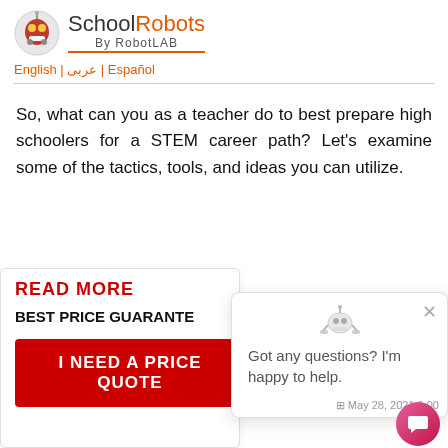SchoolRobots By RobotLAB | English | عربى | Español
So, what can you as a teacher do to best prepare high schoolers for a STEM career path? Let's examine some of the tactics, tools, and ideas you can utilize.
READ MORE
BEST PRICE GUARANTEE
I NEED A PRICE QUOTE
Got any questions? I'm happy to help.
May 28, 2021 8:00